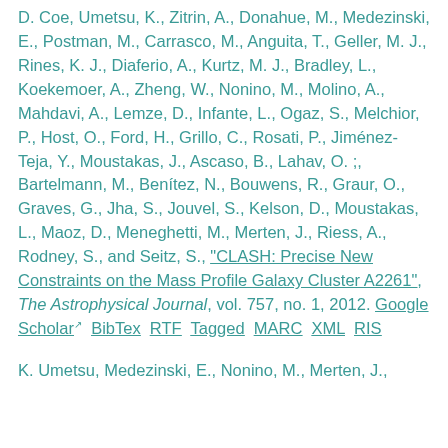D. Coe, Umetsu, K., Zitrin, A., Donahue, M., Medezinski, E., Postman, M., Carrasco, M., Anguita, T., Geller, M. J., Rines, K. J., Diaferio, A., Kurtz, M. J., Bradley, L., Koekemoer, A., Zheng, W., Nonino, M., Molino, A., Mahdavi, A., Lemze, D., Infante, L., Ogaz, S., Melchior, P., Host, O., Ford, H., Grillo, C., Rosati, P., Jiménez-Teja, Y., Moustakas, J., Ascaso, B., Lahav, O. ;, Bartelmann, M., Benítez, N., Bouwens, R., Graur, O., Graves, G., Jha, S., Jouvel, S., Kelson, D., Moustakas, L., Maoz, D., Meneghetti, M., Merten, J., Riess, A., Rodney, S., and Seitz, S., "CLASH: Precise New Constraints on the Mass Profile Galaxy Cluster A2261", The Astrophysical Journal, vol. 757, no. 1, 2012. Google Scholar BibTex RTF Tagged MARC XML RIS
K. Umetsu, Medezinski, E., Nonino, M., Merten, J.,